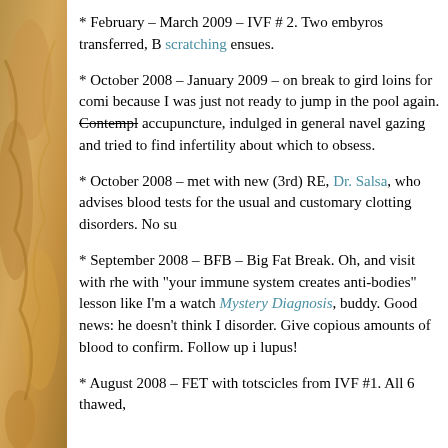* February – March 2009 – IVF # 2. Two embyros transferred, B[...] scratching ensues.
* October 2008 – January 2009 – on break to gird loins for comi[...] because I was just not ready to jump in the pool again. Contempl[...] accupuncture, indulged in general navel gazing and tried to find [...] infertility about which to obsess.
* October 2008 – met with new (3rd) RE, Dr. Salsa, who advises [...] blood tests for the usual and customary clotting disorders. No su[...]
* September 2008 – BFB – Big Fat Break. Oh, and visit with rhe[...] with "your immune system creates anti-bodies" lesson like I'm a [...] watch Mystery Diagnosis, buddy. Good news: he doesn't think I [...] disorder. Give copious amounts of blood to confirm. Follow up i[...] lupus!
* August 2008 – FET with totscicles from IVF #1. All 6 thawed,[...]